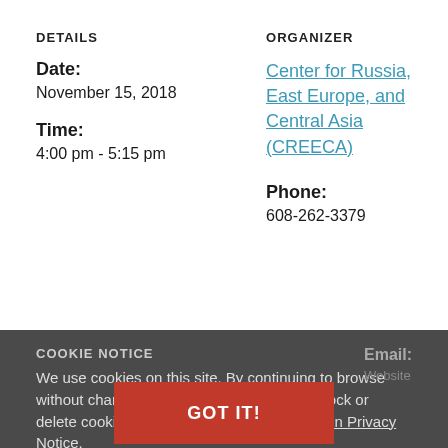DETAILS
Date:
November 15, 2018
Time:
4:00 pm - 5:15 pm
ORGANIZER
Center for Russia, East Europe, and Central Asia (CREECA)
Phone:
608-262-3379
COOKIE NOTICE
We use cookies on this site. By continuing to browse without changing your browser settings to block or delete cookies, you agree to the UW–Madison Privacy Notice.
Email:
GOT IT!
VENUE